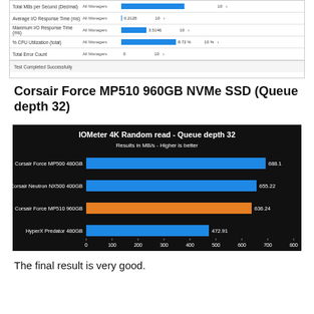[Figure (screenshot): IOMeter benchmark results table showing metrics: Total MBs per Second (Decimal), Average I/O Response Time (ms), Maximum I/O Response Time (ms), % CPU Utilization (total), Total Error Count. All Managers values shown with blue bars. Status bar reads: Test Completed Successfully.]
Corsair Force MP510 960GB NVMe SSD (Queue depth 32)
[Figure (bar-chart): IOMeter 4K Random read - Queue depth 32]
The final result is very good.